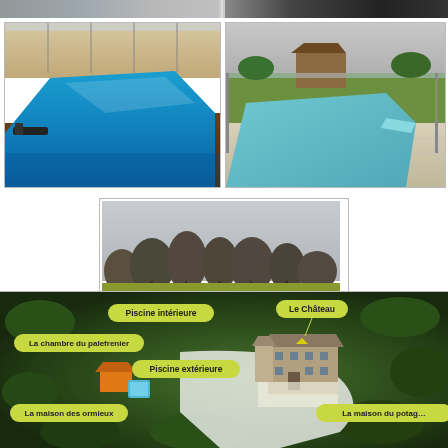[Figure (photo): Top strip showing partial architectural/building photos in grey and dark tones]
[Figure (photo): Indoor swimming pool with wooden deck surround, blue pool water, large glass windows with garden view]
[Figure (photo): Indoor/covered pool area with gazebo, sliding glass doors, pool with steps, outdoor garden visible]
[Figure (photo): Landscape photo showing green fields, bare winter trees, wooden fence/rail, overcast sky]
[Figure (illustration): Aerial/bird's-eye illustration map of a chateau estate with labeled buildings: Piscine intérieure, Le Château, La chambre du palefrenier, Piscine extérieure, La maison des ormieux, La maison du potager]